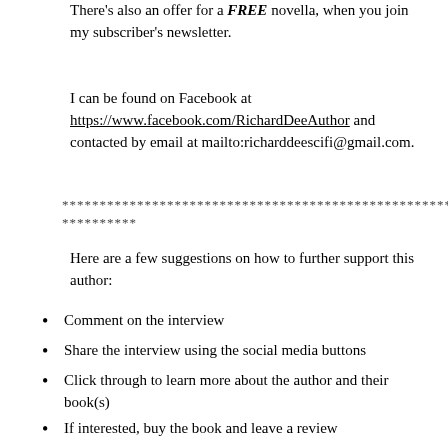There's also an offer for a FREE novella, when you join my subscriber's newsletter.
I can be found on Facebook at https://www.facebook.com/RichardDeeAuthor and contacted by email at mailto:richarddeescifi@gmail.com.
******************************************************************
**********
Here are a few suggestions on how to further support this author:
Comment on the interview
Share the interview using the social media buttons
Click through to learn more about the author and their book(s)
If interested, buy the book and leave a review